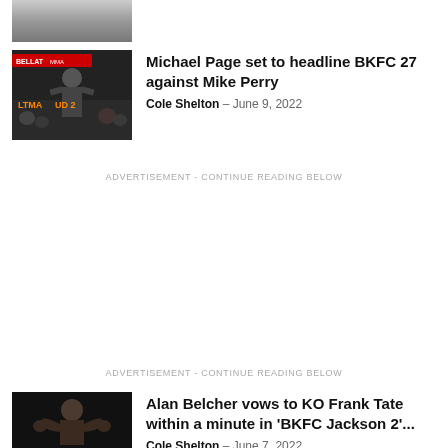[Figure (photo): Partial top thumbnail of a person, cropped at top of page]
[Figure (photo): Bellator MMA fighter at weigh-in with crowd behind, dark background with 'BELLAT MMA' text]
Michael Page set to headline BKFC 27 against Mike Perry
Cole Shelton – June 9, 2022
ADVERTISEMENT - CONTINUE READING BELOW
ADVERTISEMENT - CONTINUE READING BELOW
[Figure (photo): Alan Belcher flexing, dark background]
Alan Belcher vows to KO Frank Tate within a minute in 'BKFC Jackson 2'...
Cole Shelton – June 7, 2022